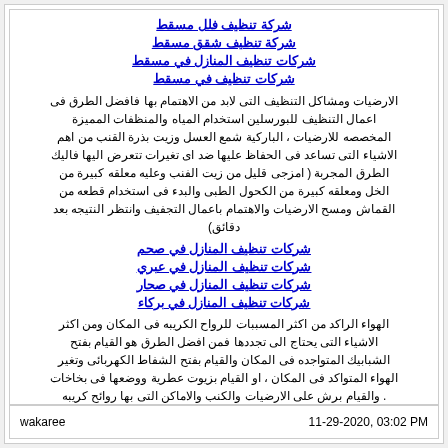شركة تنظيف فلل مسقط
شركة تنظيف شقق مسقط
شركات تنظيف المنازل في مسقط
شركات تنظيف في مسقط
الارضيات ومشاكل التنظيف التى لابد من الاهتمام بها فافضل الطرق فى اعمال التنظيف للبورسلين استخدام المياه والمنظفات المميزة المخصصه للارضيات ، الباركية شمع العسل وزيت بذرة القنب من اهم الاشياء التى تساعد فى الحفاظ عليها ضد اى تغيرات تتعرض اليها فاليك الطرق المجربة ( امزجى قليل من زيت الفنب وعليه معلقه كبيرة من الخل ومعلقه كبيرة من الكحول الطبى والبدء فى استخدام قطعه من القماش ومسح الارضيات والاهتمام باعمال التجفيف وانتظر النتيجه بعد دقائق)
شركات تنظيف المنازل في صحم
شركات تنظيف المنازل في عبري
شركات تنظيف المنازل في صحار
شركات تنظيف المنازل في بركاء
الهواء الراكد من اكثر المسببات للرواح الكريبه فى المكان ومن اكثر الاشياء التى يحتاج الى تجددها فمن افضل الطرق هو القيام بفتح الشبابيك المتواجده فى المكان والقيام بفتح الشفاط الكهربائى وتغير الهواء المتواكد فى المكان ، او القيام بزيوت عطرية ووضعها فى بخاخات . والقيام برش على الارضيات والكنب والاماكن التى بها روائح كريبه بقع السجاد : من اكثر الاشياء التى من الممكن ان يتعرض اليها وخاصه اذا كان هناك اطفال فى المكان فاذا تم سكب اى كوب او وجود اى بقعه فعليكى ان تقومى فى الحال بالتنظيف على السجاد فلا تقوم بمسحها فعليك ان تقومى بوضع قطعه من القماش وامتصاصها تماما والبدء فى اعمال التنظيف بالطريقه التى تتلائم مع السجاد .
wakaree    11-29-2020, 03:02 PM